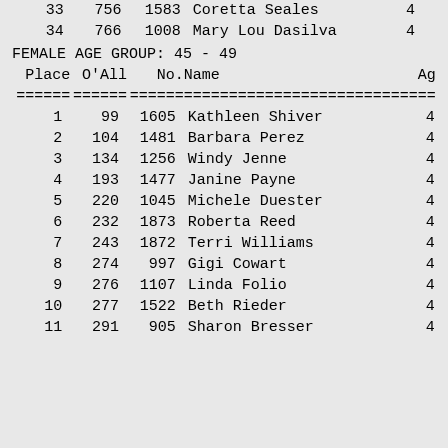| Place | O'All | No. | Name | Ag |
| --- | --- | --- | --- | --- |
| 33 | 756 | 1583 | Coretta Seales | 4 |
| 34 | 766 | 1008 | Mary Lou Dasilva | 4 |
FEMALE AGE GROUP:  45 - 49
| Place | O'All | No. | Name | Ag |
| --- | --- | --- | --- | --- |
| 1 | 99 | 1605 | Kathleen Shiver | 4 |
| 2 | 104 | 1481 | Barbara Perez | 4 |
| 3 | 134 | 1256 | Windy Jenne | 4 |
| 4 | 193 | 1477 | Janine Payne | 4 |
| 5 | 220 | 1045 | Michele Duester | 4 |
| 6 | 232 | 1873 | Roberta Reed | 4 |
| 7 | 243 | 1872 | Terri Williams | 4 |
| 8 | 274 | 997 | Gigi Cowart | 4 |
| 9 | 276 | 1107 | Linda Folio | 4 |
| 10 | 277 | 1522 | Beth Rieder | 4 |
| 11 | 291 | 905 | Sharon Bresser | 4 |